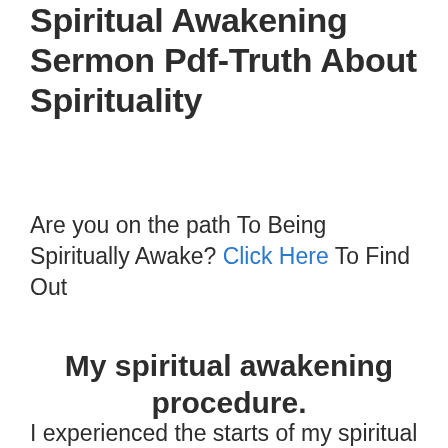Spiritual Awakening Sermon Pdf-Truth About Spirituality
Are you on the path To Being Spiritually Awake? Click Here To Find Out
My spiritual awakening procedure.
I experienced the starts of my spiritual